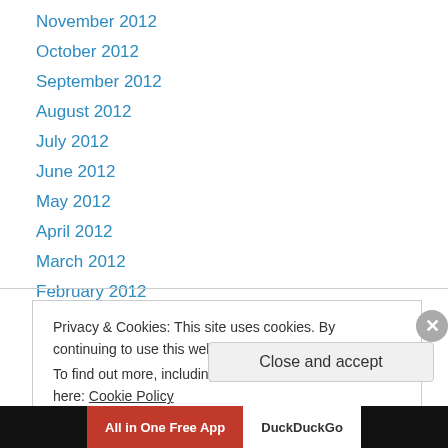November 2012
October 2012
September 2012
August 2012
July 2012
June 2012
May 2012
April 2012
March 2012
February 2012
March 2009
Privacy & Cookies: This site uses cookies. By continuing to use this website, you agree to their use. To find out more, including how to control cookies, see here: Cookie Policy
Close and accept